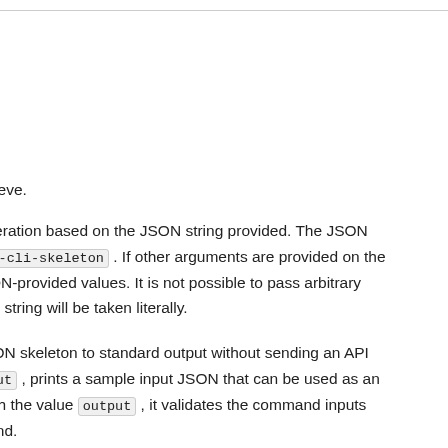t to retrieve.
vice operation based on the JSON string provided. The JSON nerate-cli-skeleton . If other arguments are provided on the the JSON-provided values. It is not possible to pass arbitrary e as the string will be taken literally.
ts a JSON skeleton to standard output without sending an API ue input , prints a sample input JSON that can be used as an ided with the value output , it validates the command inputs command.